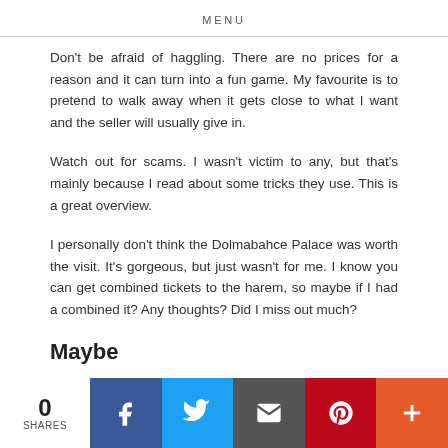MENU
Don't be afraid of haggling. There are no prices for a reason and it can turn into a fun game. My favourite is to pretend to walk away when it gets close to what I want and the seller will usually give in.
Watch out for scams. I wasn't victim to any, but that's mainly because I read about some tricks they use. This is a great overview.
I personally don't think the Dolmabahce Palace was worth the visit. It's gorgeous, but just wasn't for me. I know you can get combined tickets to the harem, so maybe if I had a combined it? Any thoughts? Did I miss out much?
Maybe
Maybe a visit to a hammam (or Turkish bathhouse) is something for you? From what I heard Cağaloğlu Hamamı is pretty amazing and everything you want from a bathhouse. But they are all over the city
0 SHARES